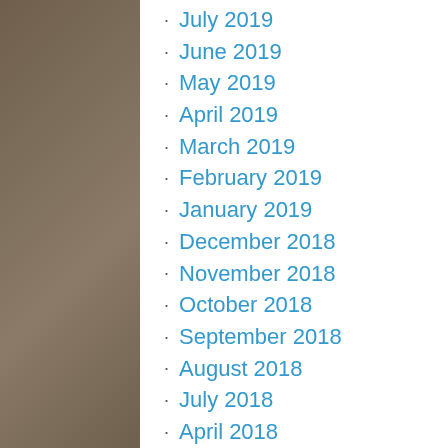July 2019
June 2019
May 2019
April 2019
March 2019
February 2019
January 2019
December 2018
November 2018
October 2018
September 2018
August 2018
July 2018
April 2018
November 2017
October 2017
September 2017
August 2017
July 2017